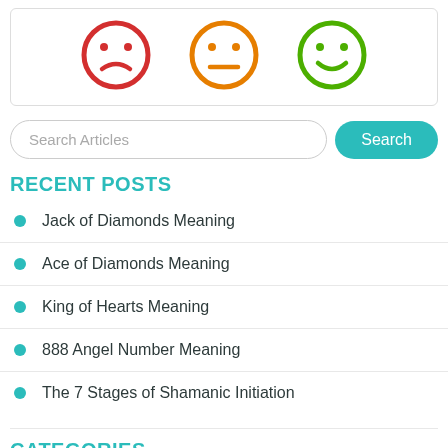[Figure (illustration): Three emoji faces: red sad face, orange neutral face, green happy face]
Search Articles
RECENT POSTS
Jack of Diamonds Meaning
Ace of Diamonds Meaning
King of Hearts Meaning
888 Angel Number Meaning
The 7 Stages of Shamanic Initiation
CATEGORIES